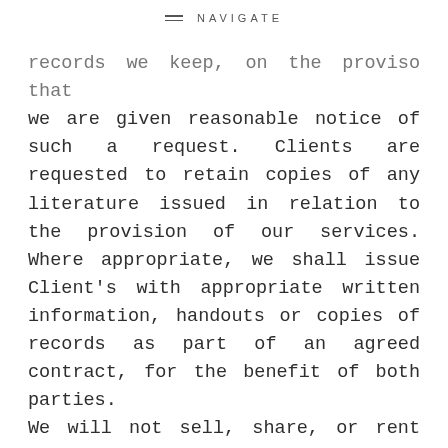NAVIGATE
records we keep, on the proviso that we are given reasonable notice of such a request. Clients are requested to retain copies of any literature issued in relation to the provision of our services. Where appropriate, we shall issue Client's with appropriate written information, handouts or copies of records as part of an agreed contract, for the benefit of both parties.
We will not sell, share, or rent your personal information to any third party or use your e-mail address for unsolicited mail. Any emails sent by this Company will only be in